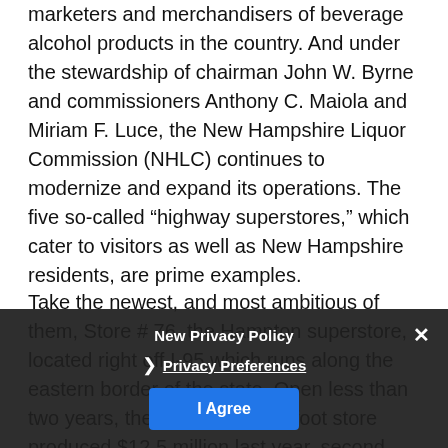marketers and merchandisers of beverage alcohol products in the country. And under the stewardship of chairman John W. Byrne and commissioners Anthony C. Maiola and Miriam F. Luce, the New Hampshire Liquor Commission (NHLC) continues to modernize and expand its operations. The five so-called “highway superstores,” which cater to visitors as well as New Hampshire residents, are prime examples.
Take the newest, and most ambitious of them, Store # 76, the Hampton superstore, located right off I-95 which runs along the eastern border of the state. Open less than two years, the 16,000-square-foot store produced $12.5 million last year, second among the state’s 72 stores. This new store’s performance is on track to eclipse the $13.2 million produced by the tremendously successful Portsmouth Circle superstore, located about 10 miles north.
New Privacy Policy
Privacy Preferences
I Agree